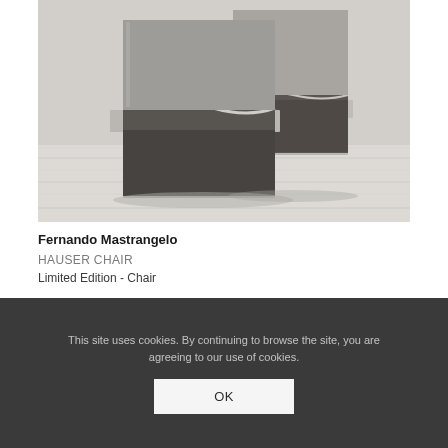[Figure (photo): A photograph of a sculptural chair by Fernando Mastrangelo. The chair is made of resin and sand/gravel aggregate material, with a rectangular block-like form. The lower portion shows dark granular material (gravel/sand), the middle has a wavy pale layer, and the upper portion is smooth gray. Two such chairs are visible. The background is a pale whitewashed wooden floor and white wall.]
Fernando Mastrangelo
HAUSER CHAIR
Limited Edition - Chair
This site uses cookies. By continuing to browse the site, you are agreeing to our use of cookies.
OK